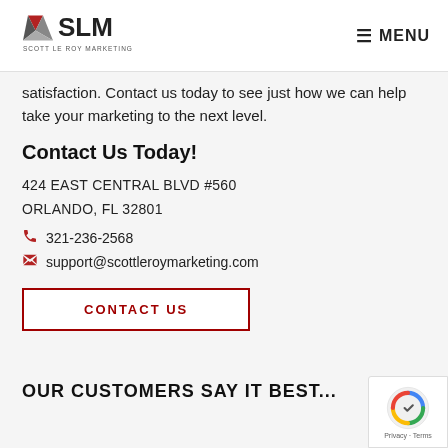SLM SCOTT LE ROY MARKETING — MENU
satisfaction. Contact us today to see just how we can help take your marketing to the next level.
Contact Us Today!
424 EAST CENTRAL BLVD #560
ORLANDO, FL 32801
321-236-2568
support@scottleroymarketing.com
CONTACT US
OUR CUSTOMERS SAY IT BEST...